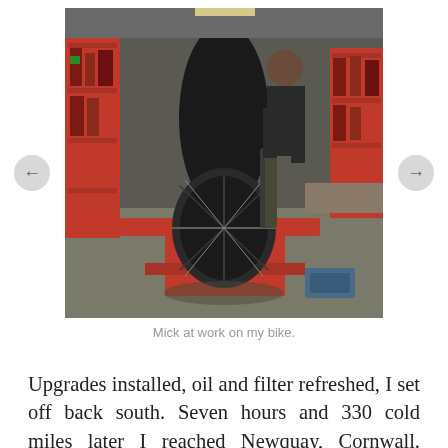[Figure (photo): A motorcycle being worked on in a garage workshop. The bike is raised on a red hydraulic jack/lift. A mechanic is visible working on it. The workshop has red metal shelving units, tools, and various parts around. The rear tire of the motorcycle is prominently visible.]
Mick at work on my bike.
Upgrades installed, oil and filter refreshed, I set off back south. Seven hours and 330 cold miles later I reached Newquay, Cornwall. “Where?”, I hear you gasp. “But Geoff, you live in London!” Well, that’s true, but I’d been asked to give a talk to a Forces training